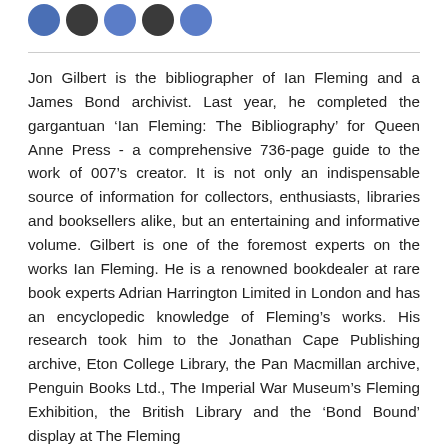[Figure (other): Row of five circular social media icon buttons in blue/dark blue colors]
Jon Gilbert is the bibliographer of Ian Fleming and a James Bond archivist. Last year, he completed the gargantuan ‘Ian Fleming: The Bibliography’ for Queen Anne Press - a comprehensive 736-page guide to the work of 007’s creator. It is not only an indispensable source of information for collectors, enthusiasts, libraries and booksellers alike, but an entertaining and informative volume. Gilbert is one of the foremost experts on the works Ian Fleming. He is a renowned bookdealer at rare book experts Adrian Harrington Limited in London and has an encyclopedic knowledge of Fleming’s works. His research took him to the Jonathan Cape Publishing archive, Eton College Library, the Pan Macmillan archive, Penguin Books Ltd., The Imperial War Museum’s Fleming Exhibition, the British Library and the ‘Bond Bound’ display at The Fleming